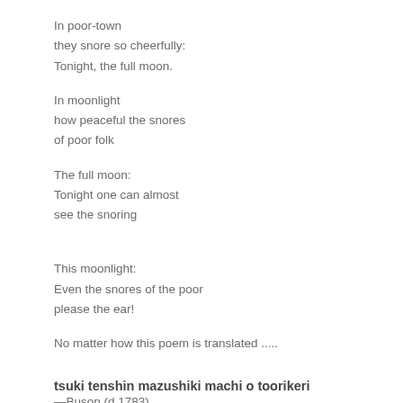In poor-town
they snore so cheerfully:
Tonight, the full moon.
In moonlight
how peaceful the snores
of poor folk
The full moon:
Tonight one can almost
see the snoring
This moonlight:
Even the snores of the poor
please the ear!
No matter how this poem is translated .....
tsuki tenshin mazushiki machi o toorikeri
—Buson (d.1783)